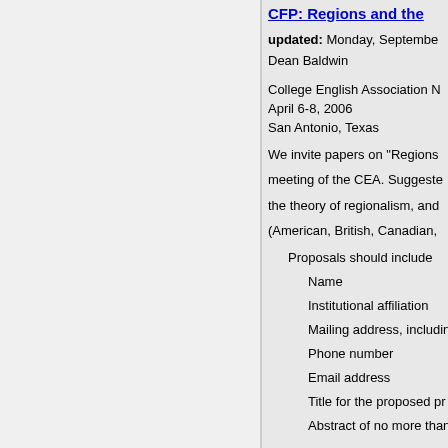CFP: Regions and the
updated: Monday, Septembe
Dean Baldwin
College English Association N
April 6-8, 2006
San Antonio, Texas
We invite papers on "Regions
meeting of the CEA. Suggeste
the theory of regionalism, and
(American, British, Canadian,
Proposals should include
Name
Institutional affiliation
Mailing address, includin
Phone number
Email address
Title for the proposed pr
Abstract of no more than